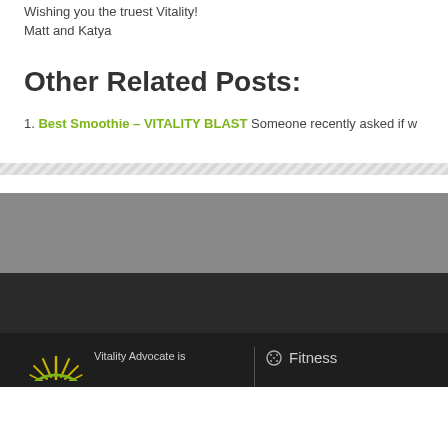Wishing you the truest Vitality!
Matt and Katya
Other Related Posts:
1. Best Smoothie – VITALITY BLAST Someone recently asked if w
[Figure (logo): Vitality Advocate sun logo in yellow/green on dark footer]
Vitality Advocate is
Fitness